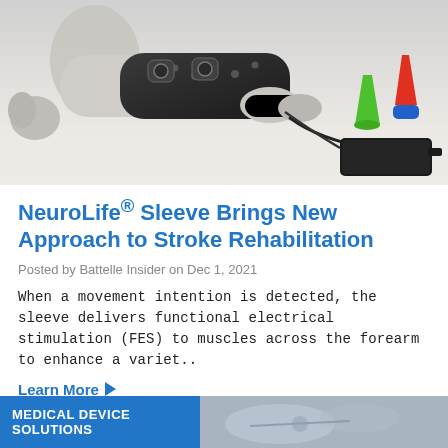[Figure (photo): A robotic or prosthetic arm wearing a black forearm sleeve with electrode pads (NeuroLife device), alongside colorful cone-shaped objects and a black control unit on a table surface.]
NeuroLife® Sleeve Brings New Approach to Stroke Rehabilitation
Posted by Battelle Insider on Dec 1, 2021
When a movement intention is detected, the sleeve delivers functional electrical stimulation (FES) to muscles across the forearm to enhance a variet..
Learn More ▶
MEDICAL DEVICE SOLUTIONS